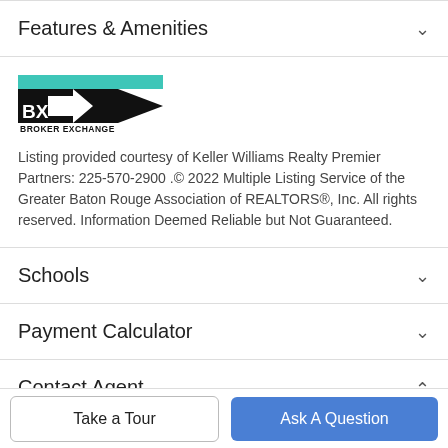Features & Amenities
[Figure (logo): Broker Exchange logo with teal/black arrow design and text 'BROKER EXCHANGE']
Listing provided courtesy of Keller Williams Realty Premier Partners: 225-570-2900 .© 2022 Multiple Listing Service of the Greater Baton Rouge Association of REALTORS®, Inc. All rights reserved. Information Deemed Reliable but Not Guaranteed.
Schools
Payment Calculator
Contact Agent
[Figure (photo): Partial agent profile photo (head/shoulders) at bottom of page]
Take a Tour
Ask A Question